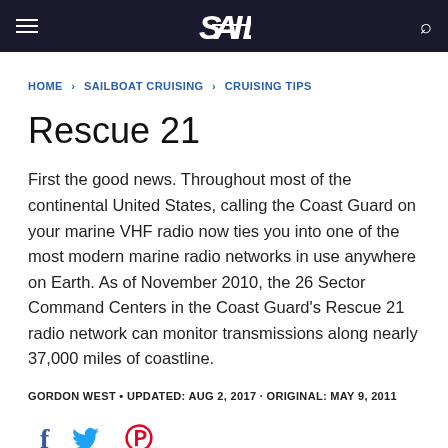SAIL
HOME › SAILBOAT CRUISING › CRUISING TIPS
Rescue 21
First the good news. Throughout most of the continental United States, calling the Coast Guard on your marine VHF radio now ties you into one of the most modern marine radio networks in use anywhere on Earth. As of November 2010, the 26 Sector Command Centers in the Coast Guard's Rescue 21 radio network can monitor transmissions along nearly 37,000 miles of coastline.
GORDON WEST • UPDATED: AUG 2, 2017 · ORIGINAL: MAY 9, 2011
[Figure (other): Social share icons: Facebook (f), Twitter (bird), Pinterest (P)]